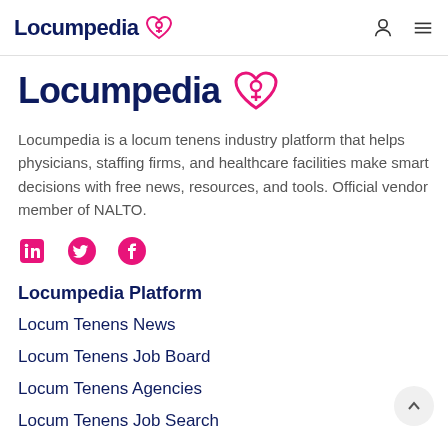Locumpedia [logo] [user icon] [menu icon]
[Figure (logo): Locumpedia logo with large bold dark blue text and pink heart/stethoscope icon]
Locumpedia is a locum tenens industry platform that helps physicians, staffing firms, and healthcare facilities make smart decisions with free news, resources, and tools. Official vendor member of NALTO.
[Figure (illustration): Social media icons: LinkedIn, Twitter, Facebook in pink]
Locumpedia Platform
Locum Tenens News
Locum Tenens Job Board
Locum Tenens Agencies
Locum Tenens Job Search